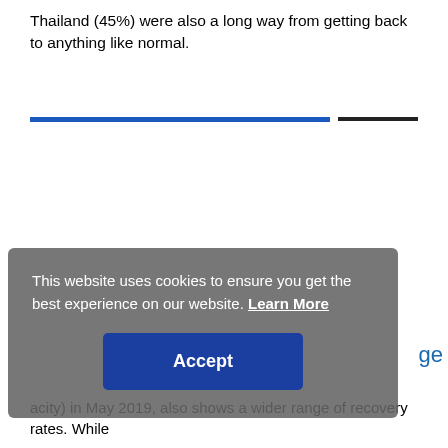Thailand (45%) were also a long way from getting back to anything like normal.
[Figure (other): A horizontal divider with a thick blue line on the left and a thinner dark line on the right, appearing to be a chart or figure header separator bar.]
This website uses cookies to ensure you get the best experience on our website. Learn More
Accept
ge
acity) in May 2019, also shows a wider range of recovery rates. While